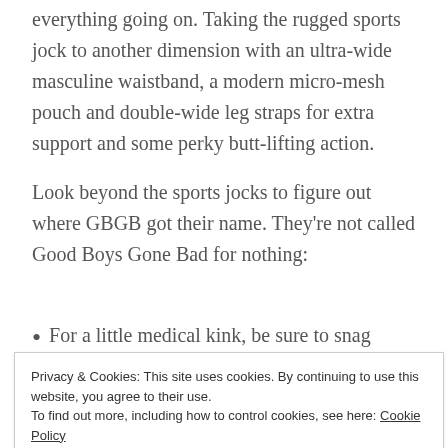everything going on. Taking the rugged sports jock to another dimension with an ultra-wide masculine waistband, a modern micro-mesh pouch and double-wide leg straps for extra support and some perky butt-lifting action.
Look beyond the sports jocks to figure out where GBGB got their name. They're not called Good Boys Gone Bad for nothing:
For a little medical kink, be sure to snag some of our GBGB
Privacy & Cookies: This site uses cookies. By continuing to use this website, you agree to their use. To find out more, including how to control cookies, see here: Cookie Policy
Close and accept